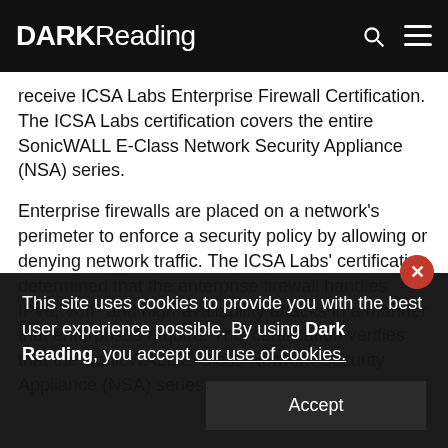DARK Reading
receive ICSA Labs Enterprise Firewall Certification. The ICSA Labs certification covers the entire SonicWALL E-Class Network Security Appliance (NSA) series.
Enterprise firewalls are placed on a network's perimeter to enforce a security policy by allowing or denying network traffic. The ICSA Labs' certification determined that the enterprise firewall handles IPv6, VoIP and high-availability attacks in a manner that enterprises require. This certification verifies that the SonicWALL E-Class Network Security Appliance (NSA) series...
This site uses cookies to provide you with the best user experience possible. By using Dark Reading, you accept our use of cookies.